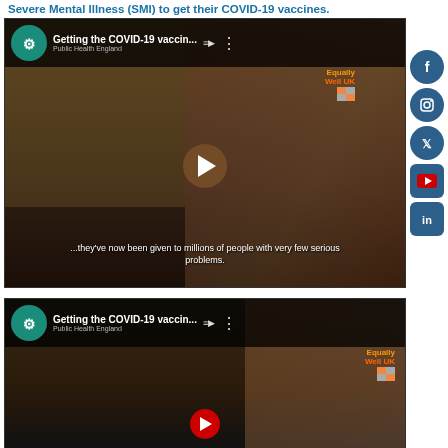Severe Mental Illness (SMI) to get their COVID-19 vaccines.
[Figure (screenshot): YouTube video thumbnail: 'Getting the COVID-19 vaccin...' from Public Health England, showing a woman being interviewed, with subtitle text '...they've now been given to millions of people with very few serious problems.' Social media icons (Facebook, Instagram, Twitter, YouTube, LinkedIn) visible on the right side. Equally Well UK branding.]
[Figure (screenshot): YouTube video thumbnail: 'Getting the COVID-19 vaccin...' from Public Health England, showing a person wearing glasses and a cap. Equally Well UK branding.]